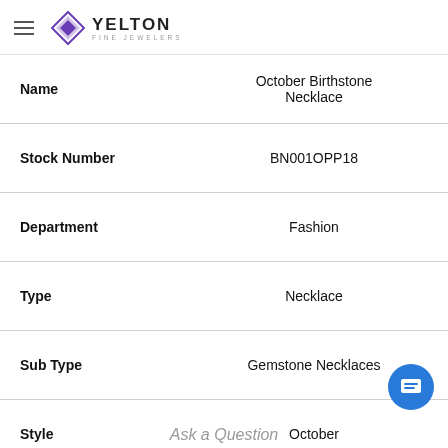Yelton Fine Jewelers
| Field | Value |
| --- | --- |
| Name | October Birthstone Necklace |
| Stock Number | BN001OPP18 |
| Department | Fashion |
| Type | Necklace |
| Sub Type | Gemstone Necklaces |
| Style | October |
| Collection | Birthstone |
| Material | Platinum Plated Silver |
Ask a Question